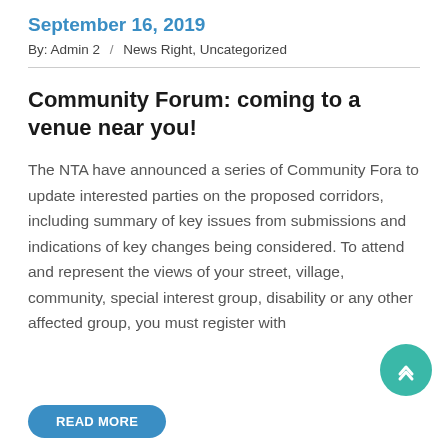September 16, 2019
By: Admin 2  /  News Right, Uncategorized
Community Forum: coming to a venue near you!
The NTA have announced a series of Community Fora to update interested parties on the proposed corridors, including summary of key issues from submissions and indications of key changes being considered. To attend and represent the views of your street, village, community, special interest group, disability or any other affected group, you must register with